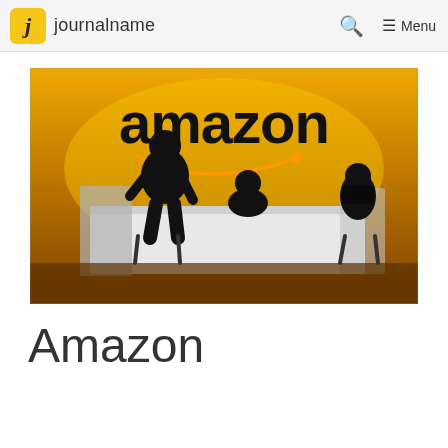journalname | Search | Menu
[Figure (photo): Amazon event photo with silhouettes of people standing in front of a bright orange/gold backdrop with the Amazon logo (amazon with smile arrow). Three people visible as silhouettes — one standing at left, one seated in center, one standing at right — behind a white reception/presentation desk.]
Amazon